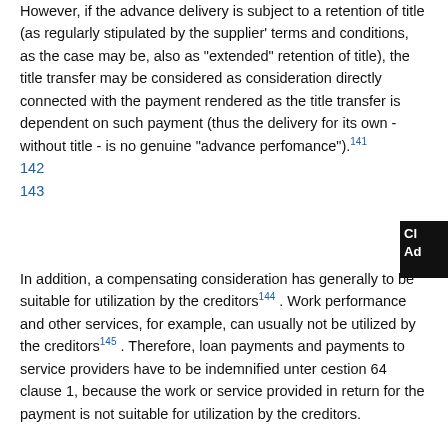However, if the advance delivery is subject to a retention of title (as regularly stipulated by the supplier' terms and conditions, as the case may be, also as "extended" retention of title), the title transfer may be considered as consideration directly connected with the payment rendered as the title transfer is dependent on such payment (thus the delivery for its own - without title - is no genuine "advance perfomance").141
142
143
In addition, a compensating consideration has generally to be suitable for utilization by the creditors144 . Work performance and other services, for example, can usually not be utilized by the creditors145 . Therefore, loan payments and payments to service providers have to be indemnified unter cestion 64 clause 1, because the work or service provided in return for the payment is not suitable for utilization by the creditors.